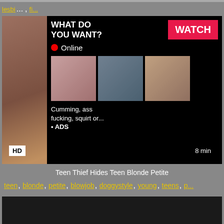lesbi..., fi...
[Figure (screenshot): Adult video thumbnail with ad overlay showing 'WHAT DO YOU WANT? WATCH' button, Online indicator, thumbnail images, and text 'Cumming, ass fucking, squirt or... ADS'. HD badge and 8 min duration shown.]
Teen Thief Hides Teen Blonde Petite
teen, blonde, petite, blowjob, doggystyle, young, teens, p...
[Figure (screenshot): Dark video thumbnail at bottom of page]